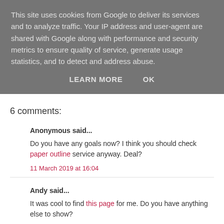This site uses cookies from Google to deliver its services and to analyze traffic. Your IP address and user-agent are shared with Google along with performance and security metrics to ensure quality of service, generate usage statistics, and to detect and address abuse.
LEARN MORE   OK
6 comments:
Anonymous said...
Do you have any goals now? I think you should check paper outline service anyway. Deal?
11 March 2019 at 16:04
Andy said...
It was cool to find this page for me. Do you have anything else to show?
18 July 2019 at 14:13